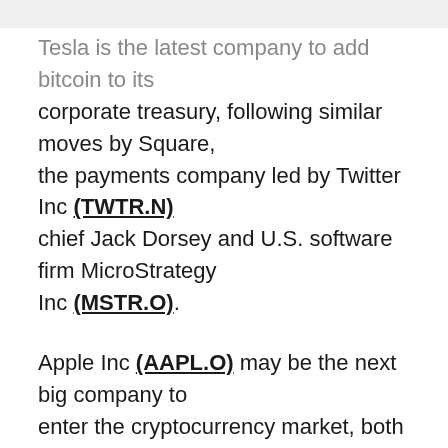Tesla is the latest company to add bitcoin to its corporate treasury, following similar moves by Square, the payments company led by Twitter Inc (TWTR.N) chief Jack Dorsey and U.S. software firm MicroStrategy Inc (MSTR.O).
Apple Inc (AAPL.O) may be the next big company to enter the cryptocurrency market, both by allowing bitcoin to be exchanged on its Apple Wallet service and investing some of its own reserves in units of the cryptocurrency, said Mitch Steves, an analyst at RBC Capital Markets.
"If [bitcoin] becomes a trend in corporate treasuries the [amount]...